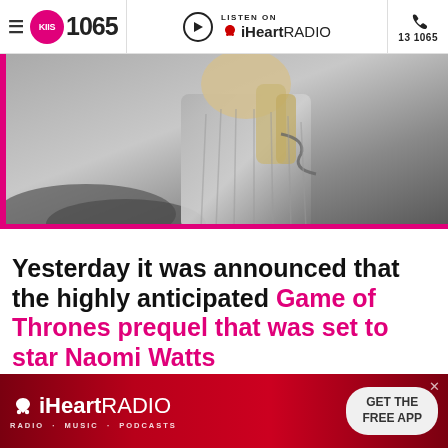KIIS 1065 | LISTEN ON iHeartRADIO | 13 1065
[Figure (photo): A person with long blonde hair wearing a grey fur/textured coat or cloak with a chain detail, photographed in desaturated tones against a blurred outdoor background. Likely a scene from Game of Thrones or its prequel.]
Yesterday it was announced that the highly anticipated Game of Thrones prequel that was set to star Naomi Watts
[Figure (logo): iHeartRADIO advertisement banner with red background, iHeart logo, tagline RADIO · MUSIC · PODCASTS, and a GET THE FREE APP button]